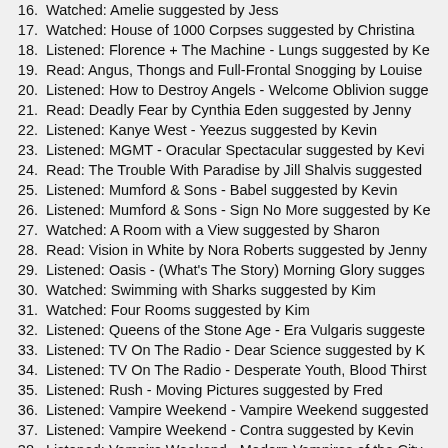16. Watched: Amelie suggested by Jess
17. Watched: House of 1000 Corpses suggested by Christina
18. Listened: Florence + The Machine - Lungs suggested by Ke
19. Read: Angus, Thongs and Full-Frontal Snogging by Louise
20. Listened: How to Destroy Angels - Welcome Oblivion sugge
21. Read: Deadly Fear by Cynthia Eden suggested by Jenny
22. Listened: Kanye West - Yeezus suggested by Kevin
23. Listened: MGMT - Oracular Spectacular suggested by Kevi
24. Read: The Trouble With Paradise by Jill Shalvis suggested
25. Listened: Mumford & Sons - Babel suggested by Kevin
26. Listened: Mumford & Sons - Sign No More suggested by Ke
27. Watched: A Room with a View suggested by Sharon
28. Read: Vision in White by Nora Roberts suggested by Jenny
29. Listened: Oasis - (What's The Story) Morning Glory sugges
30. Watched: Swimming with Sharks suggested by Kim
31. Watched: Four Rooms suggested by Kim
32. Listened: Queens of the Stone Age - Era Vulgaris suggeste
33. Listened: TV On The Radio - Dear Science suggested by K
34. Listened: TV On The Radio - Desperate Youth, Blood Thirst
35. Listened: Rush - Moving Pictures suggested by Fred
36. Listened: Vampire Weekend - Vampire Weekend suggested
37. Listened: Vampire Weekend - Contra suggested by Kevin
38. Listened: Vampire Weekend - Modern Vampires of the City
39. Watched: The Devil's Rejects suggested by Christina
40. Listened: Wolfmother - Wolfmother suggested by Kevin